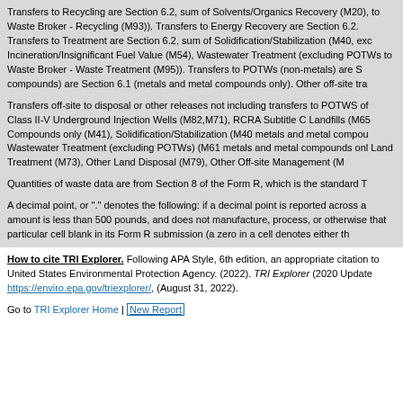Transfers to Recycling are Section 6.2, sum of Solvents/Organics Recovery (M20), to Waste Broker - Recycling (M93)). Transfers to Energy Recovery are Section 6.2. Transfers to Treatment are Section 6.2, sum of Solidification/Stabilization (M40, exc Incineration/Insignificant Fuel Value (M54), Wastewater Treatment (excluding POTWs to Waste Broker - Waste Treatment (M95)). Transfers to POTWs (non-metals) are S compounds) are Section 6.1 (metals and metal compounds only). Other off-site tra
Transfers off-site to disposal or other releases not including transfers to POTWS of Class II-V Underground Injection Wells (M82,M71), RCRA Subtitle C Landfills (M65 Compounds only (M41), Solidification/Stabilization (M40 metals and metal compou Wastewater Treatment (excluding POTWs) (M61 metals and metal compounds onl Land Treatment (M73), Other Land Disposal (M79), Other Off-site Management (M
Quantities of waste data are from Section 8 of the Form R, which is the standard T
A decimal point, or "." denotes the following: if a decimal point is reported across a amount is less than 500 pounds, and does not manufacture, process, or otherwise that particular cell blank in its Form R submission (a zero in a cell denotes either th
How to cite TRI Explorer. Following APA Style, 6th edition, an appropriate citation to United States Environmental Protection Agency. (2022). TRI Explorer (2020 Update https://enviro.epa.gov/triexplorer/, (August 31, 2022).
Go to TRI Explorer Home | New Report